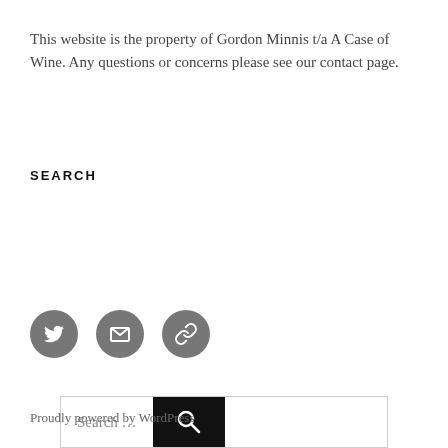This website is the property of Gordon Minnis t/a A Case of Wine. Any questions or concerns please see our contact page.
SEARCH
[Figure (other): Search bar with text input field showing 'Search …' placeholder and a black search button with magnifying glass icon]
[Figure (other): Three circular social media icon buttons: Twitter bird icon, email envelope icon, and link/chain icon — all on dark grey circles]
Proudly powered by WordPress